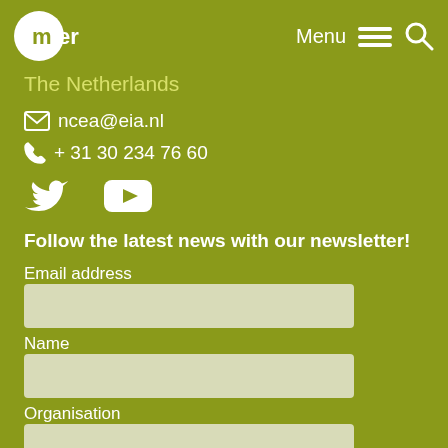mer — Menu Search
The Netherlands
ncea@eia.nl
+ 31 30 234 76 60
[Figure (other): Twitter and YouTube social media icons]
Follow the latest news with our newsletter!
Email address
Name
Organisation